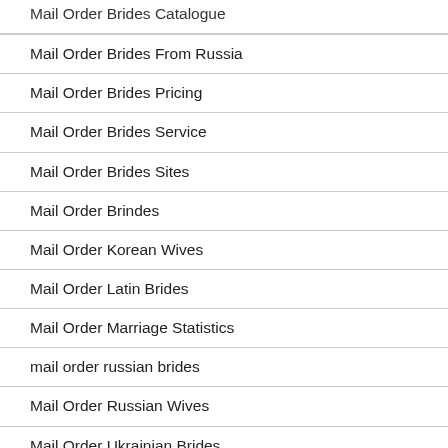Mail Order Brides Catalogue
Mail Order Brides From Russia
Mail Order Brides Pricing
Mail Order Brides Service
Mail Order Brides Sites
Mail Order Brindes
Mail Order Korean Wives
Mail Order Latin Brides
Mail Order Marriage Statistics
mail order russian brides
Mail Order Russian Wives
Mail Order Ukrainian Brides